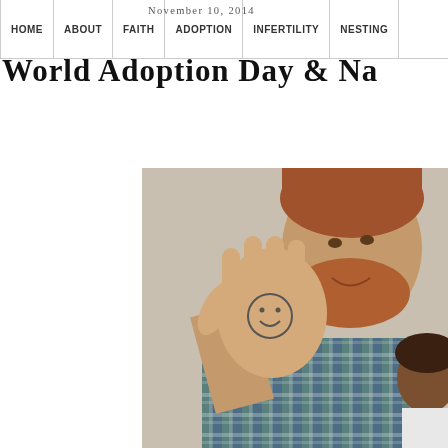HOME | ABOUT | FAITH | ADOPTION | INFERTILITY | NESTING | CALIFORNIA | CONTACT
World Adoption Day & Na
[Figure (photo): A man with red beard holding up his palm with a smiley face drawn on it, holding a child, wearing a plaid shirt, photo taken indoors against a light background.]